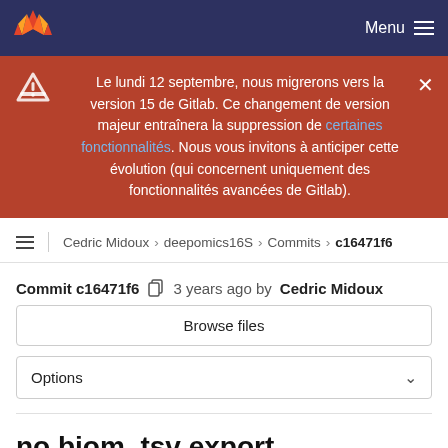GitLab navigation bar with Menu
Le lundi 12 septembre, nous migrerons vers la version 15 de Gitlab. Ce changement de version majeur entraînera la suppression de certaines fonctionnalités. Nous vous invitons à anticiper cette évolution (qui concernent uniquement des fonctionnalités avancées de Gitlab).
Cedric Midoux > deepomics16S > Commits > c16471f6
Commit c16471f6  3 years ago by Cedric Midoux
Browse files
Options
no biom, tsv export